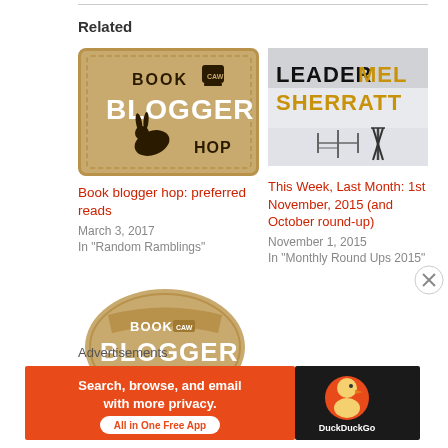Related
[Figure (photo): Book Blogger Hop badge - tan/brown background with rabbit silhouette and coffee cup]
Book blogger hop: preferred reads
March 3, 2017
In "Random Ramblings"
[Figure (photo): Book cover: The Leader by Mel Sherratt - dark winter scene with title text]
This Week, Last Month: 1st November, 2015 (and October round-up)
November 1, 2015
In "Monthly Round Ups 2015"
[Figure (photo): Book Blogger Hop badge - tan/brown circular badge design]
Advertisements
[Figure (screenshot): DuckDuckGo advertisement banner: Search, browse, and email with more privacy. All in One Free App]